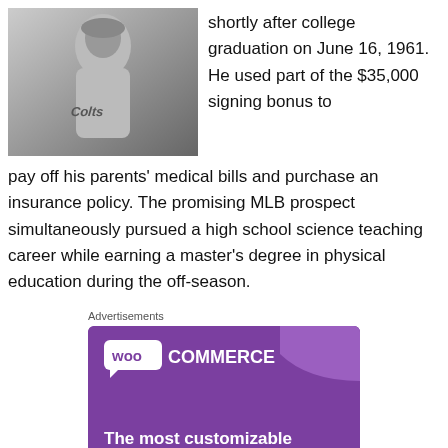[Figure (photo): Black and white photograph of a baseball player wearing a 'Colts' uniform]
shortly after college graduation on June 16, 1961. He used part of the $35,000 signing bonus to pay off his parents' medical bills and purchase an insurance policy. The promising MLB prospect simultaneously pursued a high school science teaching career while earning a master's degree in physical education during the off-season.
Advertisements
[Figure (screenshot): WooCommerce advertisement banner with purple background. Shows WooCommerce logo and text 'The most customizable eCommerce platform' with a shopping cart icon.]